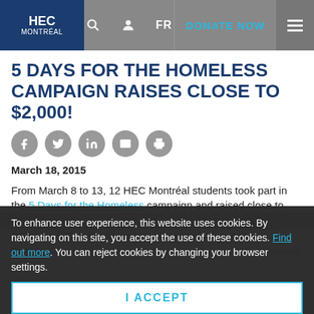HEC Montréal | DONATE NOW | FR
5 DAYS FOR THE HOMELESS CAMPAIGN RAISES CLOSE TO $2,000!
March 18, 2015
From March 8 to 13, 12 HEC Montréal students took part in the 5 Days for the Homeless campaign and raised close to $2,000 for Dans la rue and Chez Doris. They are Marie Carbonnel, Ophélie Chambily, Maureen Dulac, Arianne Dupuis, Renée Flinet, Jeanne Fournier, Diane Gable, Ludivine Joly
To enhance user experience, this website uses cookies. By navigating on this site, you accept the use of these cookies. Find out more. You can reject cookies by changing your browser settings. I ACCEPT